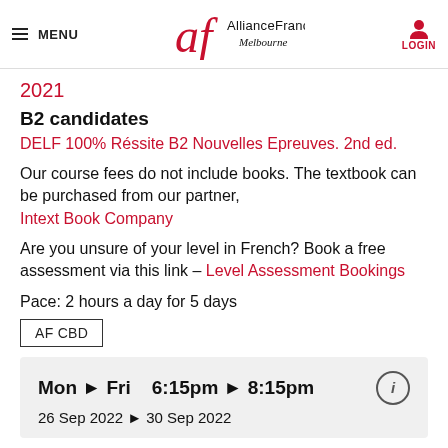MENU | Alliance Française Melbourne | LOGIN
2021
B2 candidates
DELF 100% Réssite B2 Nouvelles Epreuves. 2nd ed.
Our course fees do not include books. The textbook can be purchased from our partner, Intext Book Company
Are you unsure of your level in French? Book a free assessment via this link – Level Assessment Bookings
Pace: 2 hours a day for 5 days
AF CBD
Mon ▶ Fri   6:15pm ▶ 8:15pm
26 Sep 2022 ▶ 30 Sep 2022